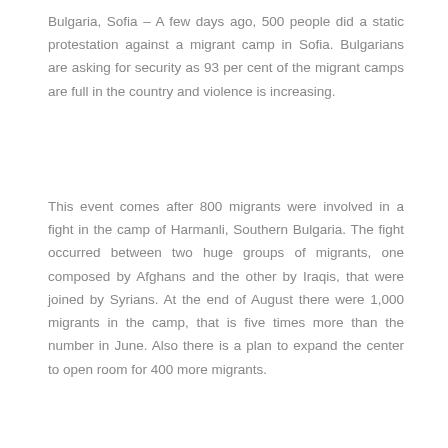Bulgaria, Sofia – A few days ago, 500 people did a static protestation against a migrant camp in Sofia. Bulgarians are asking for security as 93 per cent of the migrant camps are full in the country and violence is increasing.
This event comes after 800 migrants were involved in a fight in the camp of Harmanli, Southern Bulgaria. The fight occurred between two huge groups of migrants, one composed by Afghans and the other by Iraqis, that were joined by Syrians. At the end of August there were 1,000 migrants in the camp, that is five times more than the number in June. Also there is a plan to expand the center to open room for 400 more migrants.